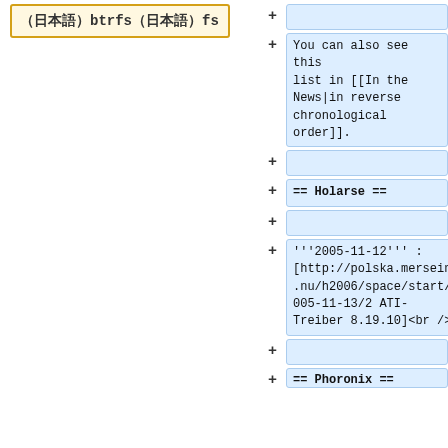（日本語）btrfs（日本語）fs
+ (empty diff block)
+ You can also see this list in [[In the News|in reverse chronological order]].
+ (empty diff block)
+ == Holarse ==
+ (empty diff block)
+ '''2005-11-12''' : [http://polska.merseine.nu/h2006/space/start/2005-11-13/2 ATI-Treiber 8.19.10]<br />
+ (empty diff block)
+ == Phoronix ==